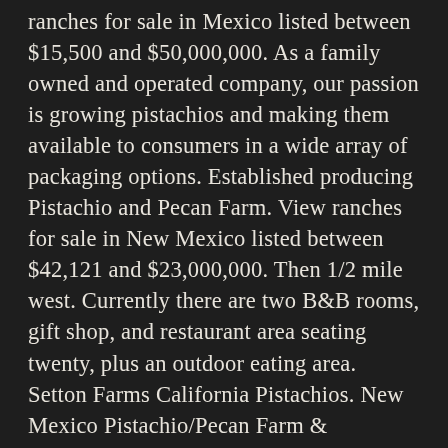ranches for sale in Mexico listed between $15,500 and $50,000,000. As a family owned and operated company, our passion is growing pistachios and making them available to consumers in a wide array of packaging options. Established producing Pistachio and Pecan Farm. View ranches for sale in New Mexico listed between $42,121 and $23,000,000. Then 1/2 mile west. Currently there are two B&B rooms, gift shop, and restaurant area seating twenty, plus an outdoor eating area. Setton Farms California Pistachios. New Mexico Pistachio/Pecan Farm & Equipment Auction Operating & Income-Producing Saturday April 25 · 10 AM MT On-site: 98 Pecos Road | Otero County | Tularosa, NM All Real Estate and Equipment sell on Tract